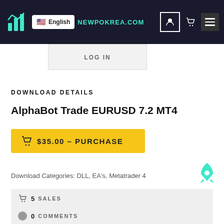NEWPOKREA.COM | English
DOWNLOAD DETAILS
AlphaBot Trade EURUSD 7.2 MT4
$35.00 – PURCHASE
Download Categories: DLL, EA's, Metatrader 4
5  SALES
0  COMMENTS